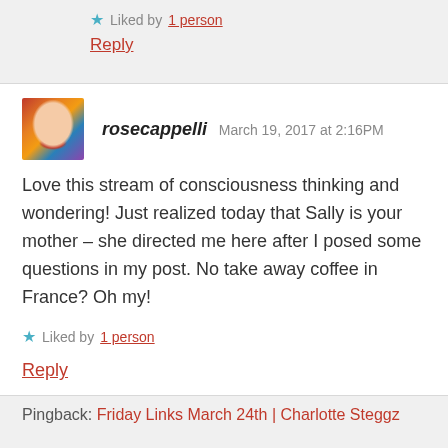★ Liked by 1 person
Reply
rosecappelli   March 19, 2017 at 2:16PM
Love this stream of consciousness thinking and wondering! Just realized today that Sally is your mother – she directed me here after I posed some questions in my post. No take away coffee in France? Oh my!
★ Liked by 1 person
Reply
Pingback: Friday Links March 24th | Charlotte Steggz